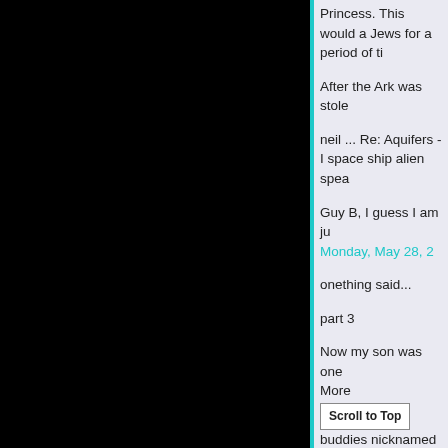[Figure (other): Black panel occupying left portion of the page]
Princess. This would a Jews for a period of ti
After the Ark was stole
neil ... Re: Aquifers - I space ship alien spea
Guy B, I guess I am ju
Monday, May 28, 2
onething said...
part 3
Now my son was one More buddies nicknamed ni
Scroll to Top